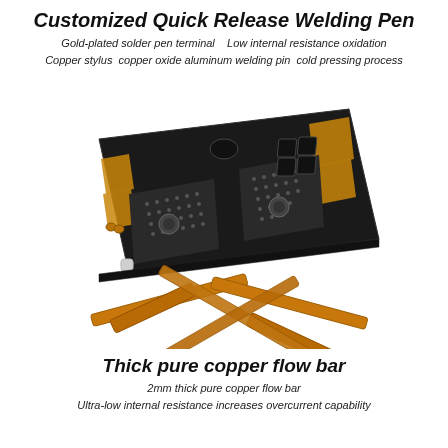Customized Quick Release Welding Pen
Gold-plated solder pen terminal   Low internal resistance oxidation
Copper stylus  copper oxide aluminum welding pin  cold pressing process
[Figure (photo): Photo of a PCB welding/spot-welding board with copper bus bars and welding pen accessories, shown at an angle. Copper cross-shaped flow bars are displayed beneath the board.]
Thick pure copper flow bar
2mm thick pure copper flow bar
Ultra-low internal resistance increases overcurrent capability